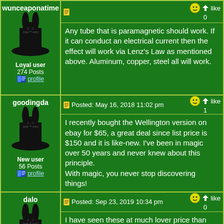wunceaponatime
[Figure (illustration): Black silhouette of a rabbit in a magician's hat on green background]
Loyal user
274 Posts
profile
Any tube that is paramagnetic should work. If it can conduct an electrical current then the effect will work via Lenz's Law as mentioned above. Aluminum, copper, steel all will work.
goodingda
Posted: May 16, 2018 11:02 pm
like 1
[Figure (illustration): Black silhouette of a rabbit in a magician's hat on green background]
New user
56 Posts
profile
I recently bought the Wellington version on ebay for $65, a great deal since list price is $150 and it is like-new. I've been in magic over 50 years and never knew about this principle.
With magic, you never stop discovering things!
dalo
Posted: Sep 23, 2019 10:34 pm
like 0
[Figure (illustration): Black silhouette of a rabbit in a magician's hat on green background]
New user
I have seen these at much lover price than you mentioning here.
Is there some reason for this?

It is a cool effect though.